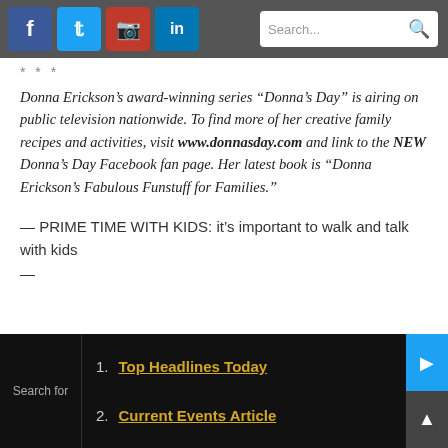Navigation bar with social icons (Facebook, Twitter, Instagram, LinkedIn) and search bar
* * *
Donna Erickson’s award-winning series “Donna’s Day” is airing on public television nationwide. To find more of her creative family recipes and activities, visit www.donnasday.com and link to the NEW Donna’s Day Facebook fan page. Her latest book is “Donna Erickson’s Fabulous Funstuff for Families.”
— PRIME TIME WITH KIDS: it’s important to walk and talk with kids
—
1. Top Headlines Today
2. Current Events Article
Search for